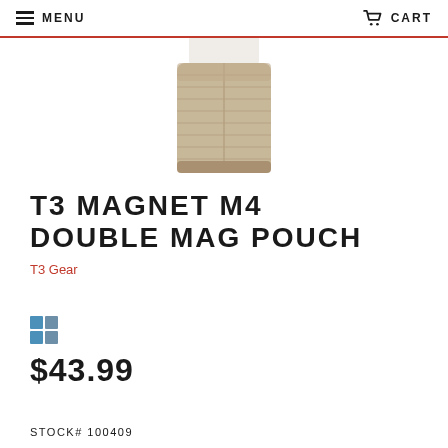MENU   CART
[Figure (photo): Product photo of T3 Magnet M4 Double Mag Pouch in tan/coyote color, showing a rectangular double magazine pouch with MOLLE webbing construction]
T3 MAGNET M4 DOUBLE MAG POUCH
T3 Gear
[Figure (other): Color swatch selector showing blue/steel color options in a 2x2 grid]
$43.99
STOCK# 100409